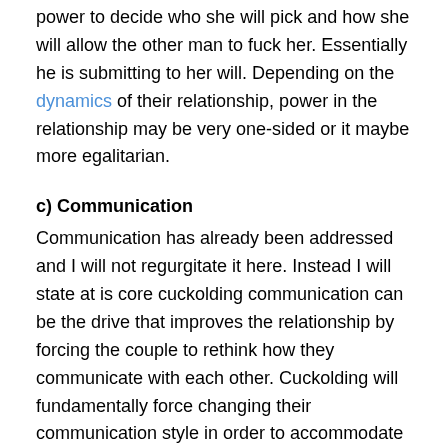power to decide who she will pick and how she will allow the other man to fuck her. Essentially he is submitting to her will. Depending on the dynamics of their relationship, power in the relationship may be very one-sided or it maybe more egalitarian.
c) Communication
Communication has already been addressed and I will not regurgitate it here. Instead I will state at is core cuckolding communication can be the drive that improves the relationship by forcing the couple to rethink how they communicate with each other. Cuckolding will fundamentally force changing their communication style in order to accommodate the additional demands cuckolding will place on them. If done right the changes made by a couple regarding communication maybe the behind the